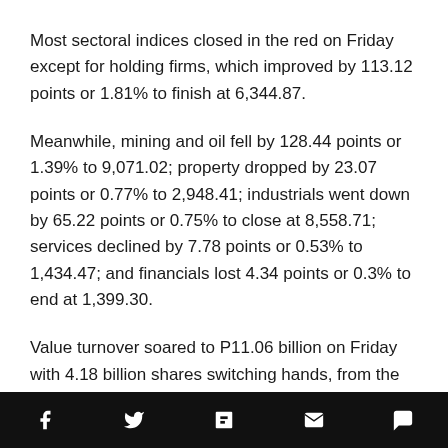Most sectoral indices closed in the red on Friday except for holding firms, which improved by 113.12 points or 1.81% to finish at 6,344.87.
Meanwhile, mining and oil fell by 128.44 points or 1.39% to 9,071.02; property dropped by 23.07 points or 0.77% to 2,948.41; industrials went down by 65.22 points or 0.75% to close at 8,558.71; services declined by 7.78 points or 0.53% to 1,434.47; and financials lost 4.34 points or 0.3% to end at 1,399.30.
Value turnover soared to P11.06 billion on Friday with 4.18 billion shares switching hands, from the P6.2 billion with 3.63 shares traded on Wednesday.
Decliners beat advancers, 152 versus 50, while 52 names
Social media icon bar: Facebook, Twitter, Flipboard, Mail, Comment